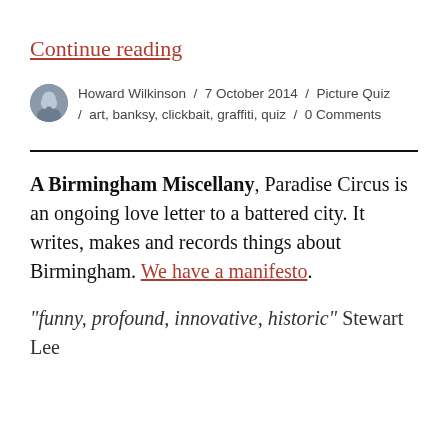Continue reading
Howard Wilkinson / 7 October 2014 / Picture Quiz / art, banksy, clickbait, graffiti, quiz / 0 Comments
A Birmingham Miscellany, Paradise Circus is an ongoing love letter to a battered city. It writes, makes and records things about Birmingham. We have a manifesto.
"funny, profound, innovative, historic" Stewart Lee